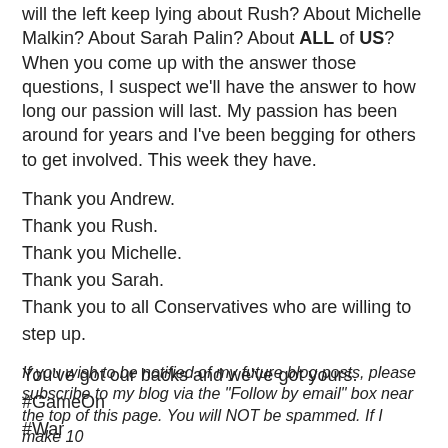will the left keep lying about Rush? About Michelle Malkin? About Sarah Palin? About ALL of US? When you come up with the answer those questions, I suspect we'll have the answer to how long our passion will last. My passion has been around for years and I've been begging for others to get involved. This week they have.
Thank you Andrew.
Thank you Rush.
Thank you Michelle.
Thank you Sarah.
Thank you to all Conservatives who are willing to step up.
You've got our backs and we've got yours.
#GameOn
#War
If you wish to be notified of my future blog posts, please subscribe to my blog via the "Follow by email" box near the top of this page. You will NOT be spammed. If I make 10...